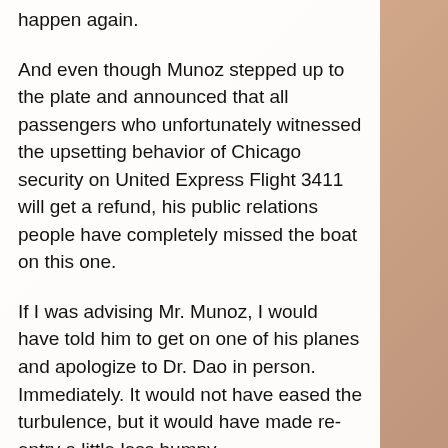happen again.
And even though Munoz stepped up to the plate and announced that all passengers who unfortunately witnessed the upsetting behavior of Chicago security on United Express Flight 3411 will get a refund, his public relations people have completely missed the boat on this one.
If I was advising Mr. Munoz, I would have told him to get on one of his planes and apologize to Dr. Dao in person. Immediately. It would not have eased the turbulence, but it would have made re-entry a little less bumpy.
Very public snafus are nothing new.  The speed at which they unfold in the digital age makes early